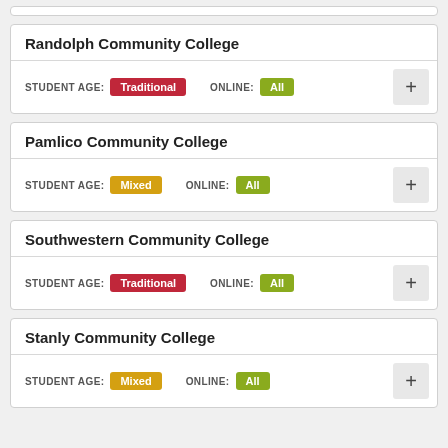Randolph Community College
STUDENT AGE: Traditional  ONLINE: All
Pamlico Community College
STUDENT AGE: Mixed  ONLINE: All
Southwestern Community College
STUDENT AGE: Traditional  ONLINE: All
Stanly Community College
STUDENT AGE: Mixed  ONLINE: All